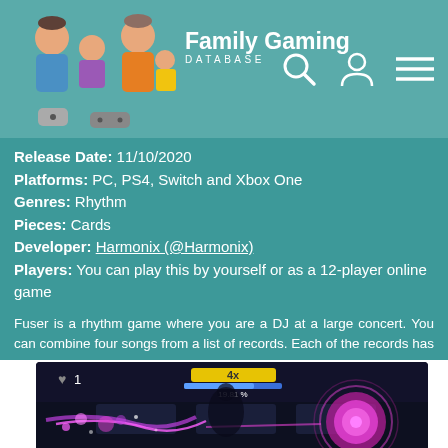Family Gaming Database
Release Date: 11/10/2020
Platforms: PC, PS4, Switch and Xbox One
Genres: Rhythm
Pieces: Cards
Developer: Harmonix (@Harmonix)
Players: You can play this by yourself or as a 12-player online game
Fuser is a rhythm game where you are a DJ at a large concert. You can combine four songs from a list of records. Each of the records has four tracks represented by colours and instruments: drums, guitar or vocals. You build up an evolving mix of music...
[Figure (screenshot): Screenshot of the Fuser rhythm game showing gameplay with a pink glowing disc, particle effects, and a 4x multiplier HUD element showing 19.81%]